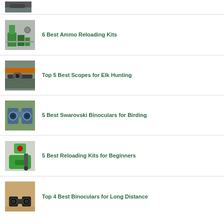[Figure (photo): Partial view of a firearm/rifle product image, cropped at top]
6 Best Ammo Reloading Kits
[Figure (photo): Ammo reloading kit with green equipment and components]
Top 5 Best Scopes for Elk Hunting
[Figure (photo): Person holding rifle with scope, orange vest visible]
5 Best Swarovski Binoculars for Birding
[Figure (photo): Blue/gray Swarovski binoculars on outdoor background]
5 Best Reloading Kits for Beginners
[Figure (photo): Green reloading press/kit equipment]
Top 4 Best Binoculars for Long Distance
[Figure (photo): Black binoculars on warm bokeh background]